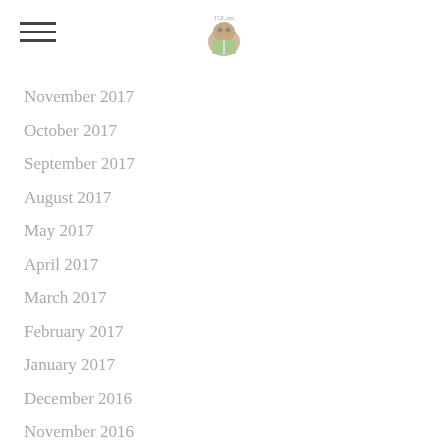[hamburger menu icon] [logo image]
November 2017
October 2017
September 2017
August 2017
May 2017
April 2017
March 2017
February 2017
January 2017
December 2016
November 2016
October 2016
September 2016
August 2016
February 2016
January 2016
December 2015
November 2015